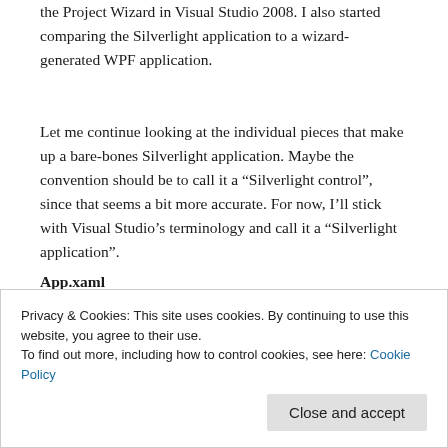the Project Wizard in Visual Studio 2008.  I also started comparing the Silverlight application to a wizard-generated WPF application.
Let me continue looking at the individual pieces that make up a bare-bones Silverlight application.  Maybe the convention should be to call it a “Silverlight control”, since that seems a bit more accurate.  For now, I’ll stick with Visual Studio’s terminology and call it a “Silverlight application”.
App.xaml
Like our WPF application, the main entry point of the Silverlight application is described by the App.xaml / App.xaml.cs files.  In both WPF and Silverlight, these files define a subclass of System.Windows.Application, which serves as the main
see is very different behavior, despite the fact that both App
Privacy & Cookies: This site uses cookies. By continuing to use this website, you agree to their use.
To find out more, including how to control cookies, see here: Cookie Policy